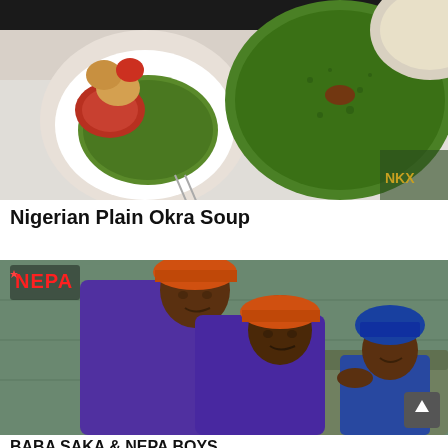[Figure (photo): Top-down view of Nigerian Plain Okra Soup in bowls on a table, showing green okra soup with various accompaniments]
Nigerian Plain Okra Soup
[Figure (photo): Two men in purple uniforms and orange hard hats posing together, with a third person in blue sitting in the background. NEPA logo visible in top left corner.]
BABA SAKA & NEPA BOYS